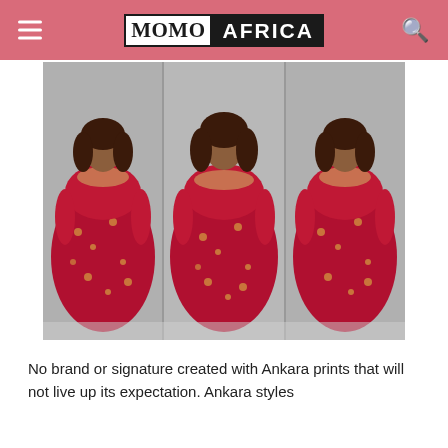MOMO AFRICA
[Figure (photo): A woman wearing a red floral Ankara off-shoulder maxi dress, shown in three mirrored angles in a fitting room.]
No brand or signature created with Ankara prints that will not live up its expectation. Ankara styles